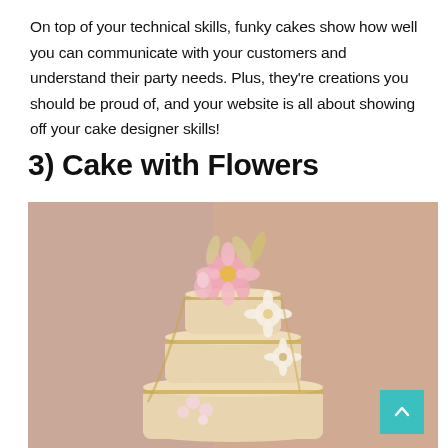On top of your technical skills, funky cakes show how well you can communicate with your customers and understand their party needs. Plus, they're creations you should be proud of, and your website is all about showing off your cake designer skills!
3) Cake with Flowers
[Figure (photo): A multi-tiered white and gold wedding cake decorated with large pink and white sugar flowers, set against a two-tone warm beige/pink background.]